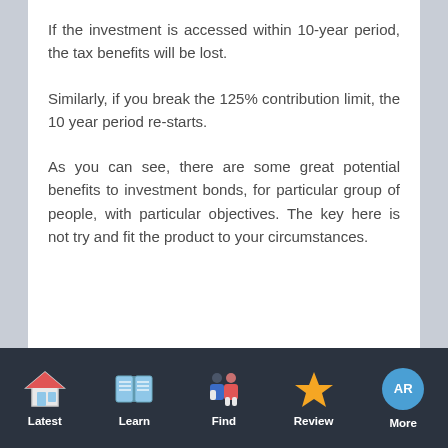If the investment is accessed within 10-year period, the tax benefits will be lost.
Similarly, if you break the 125% contribution limit, the 10 year period re-starts.
As you can see, there are some great potential benefits to investment bonds, for particular group of people, with particular objectives. The key here is not try and fit the product to your circumstances.
Latest | Learn | Find | Review | More